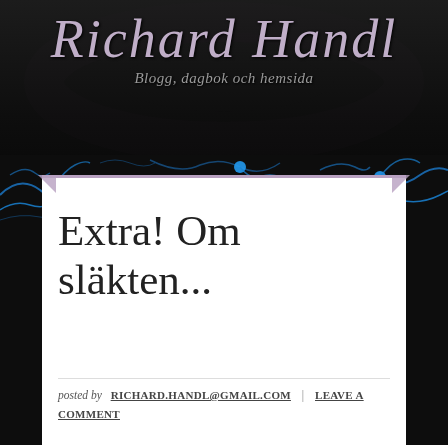Richard Handl
Blogg, dagbok och hemsida
Extra! Om släkten...
posted by RICHARD.HANDL@GMAIL.COM | LEAVE A COMMENT
Släktforskade, dagens resultat: 1220 före Jesus… I